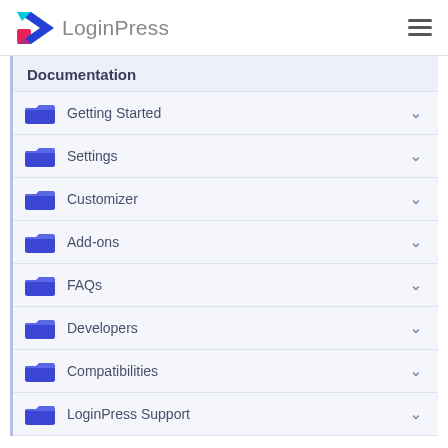LoginPress
Documentation
Getting Started
Settings
Customizer
Add-ons
FAQs
Developers
Compatibilities
LoginPress Support